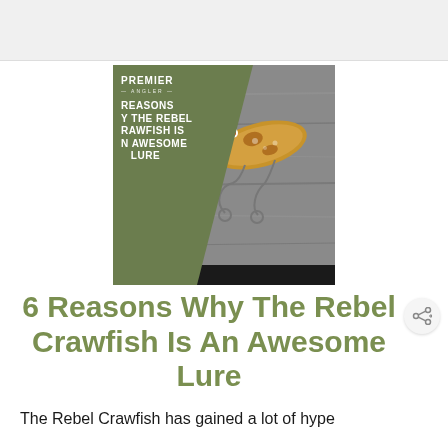[Figure (photo): Premier Angler branded image showing a fishing lure (Rebel Crawfish) on a gray surface, with green triangle overlay on the left side containing text: PREMIER ANGLER, REASONS WHY THE REBEL CRAWFISH IS AN AWESOME LURE]
6 Reasons Why The Rebel Crawfish Is An Awesome Lure
The Rebel Crawfish has gained a lot of hype